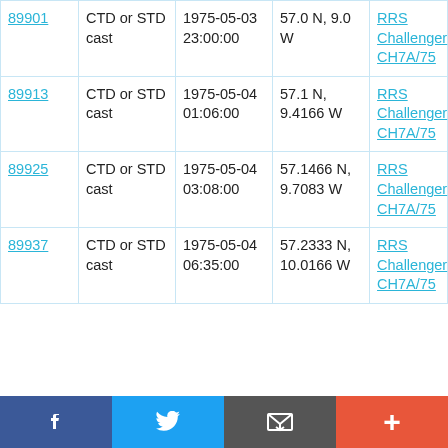| 89901 | CTD or STD cast | 1975-05-03 23:00:00 | 57.0 N, 9.0 W | RRS Challenger CH7A/75 |
| 89913 | CTD or STD cast | 1975-05-04 01:06:00 | 57.1 N, 9.4166 W | RRS Challenger CH7A/75 |
| 89925 | CTD or STD cast | 1975-05-04 03:08:00 | 57.1466 N, 9.7083 W | RRS Challenger CH7A/75 |
| 89937 | CTD or STD cast | 1975-05-04 06:35:00 | 57.2333 N, 10.0166 W | RRS Challenger CH7A/75 |
f  [twitter]  [email]  +